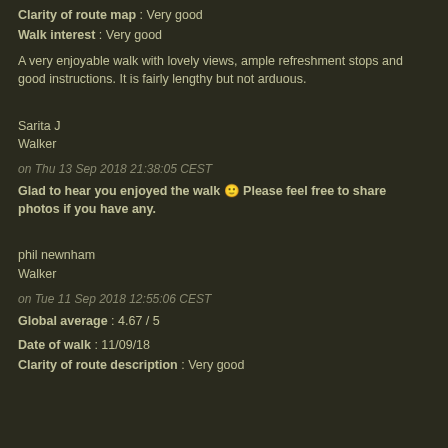Clarity of route map : Very good
Walk interest : Very good
A very enjoyable walk with lovely views, ample refreshment stops and good instructions. It is fairly lengthy but not arduous.
Sarita J
Walker
on Thu 13 Sep 2018 21:38:05 CEST
Glad to hear you enjoyed the walk 🙂 Please feel free to share photos if you have any.
phil newnham
Walker
on Tue 11 Sep 2018 12:55:06 CEST
Global average : 4.67 / 5
Date of walk : 11/09/18
Clarity of route description : Very good